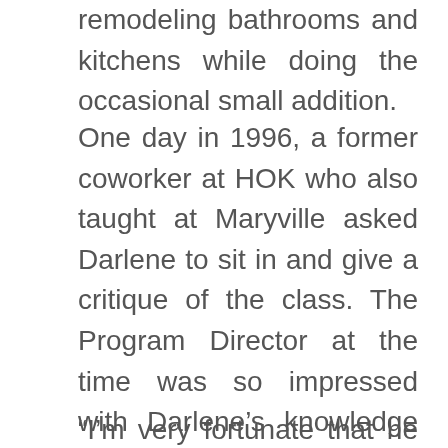remodeling bathrooms and kitchens while doing the occasional small addition.
One day in 1996, a former coworker at HOK who also taught at Maryville asked Darlene to sit in and give a critique of the class. The Program Director at the time was so impressed with Darlene’s knowledge and evaluation skills that he offered her an opportunity to become an adjunct professor. Darlene declined, but the Director was persistent, and in 1999 Darlene began teaching in the Interior Design program at Maryville.
“I’m very fortunate that he stuck with me